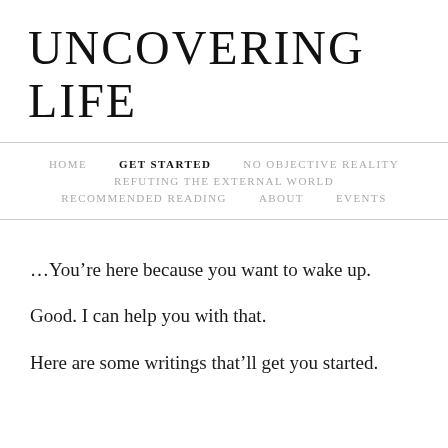UNCOVERING LIFE
HOME  GET STARTED  NO OBJECTIVE REALITY  REFUTING THE EXTERNAL WORLD  RECOMMENDED READING  ABOUT  EVENTS
…You’re here because you want to wake up.
Good. I can help you with that.
Here are some writings that’ll get you started.